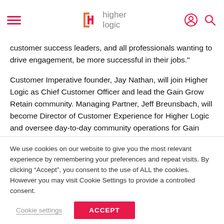Higher Logic
customer success leaders, and all professionals wanting to drive engagement, be more successful in their jobs."
Customer Imperative founder, Jay Nathan, will join Higher Logic as Chief Customer Officer and lead the Gain Grow Retain community. Managing Partner, Jeff Breunsbach, will become Director of Customer Experience for Higher Logic and oversee day-to-day community operations for Gain Grow Retain.
We use cookies on our website to give you the most relevant experience by remembering your preferences and repeat visits. By clicking “Accept”, you consent to the use of ALL the cookies. However you may visit Cookie Settings to provide a controlled consent.